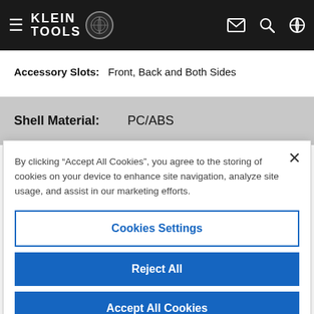Klein Tools navigation bar with hamburger menu, logo, email icon, search icon, globe icon
Accessory Slots: Front, Back and Both Sides
| Property | Value |
| --- | --- |
| Shell Material: | PC/ABS |
By clicking “Accept All Cookies”, you agree to the storing of cookies on your device to enhance site navigation, analyze site usage, and assist in our marketing efforts.
Cookies Settings
Reject All
Accept All Cookies